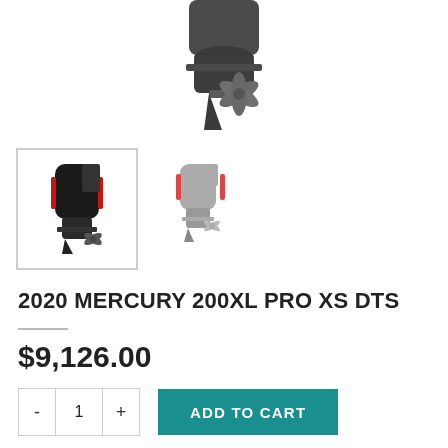[Figure (photo): Main product image of Mercury outboard motor (lower unit/propeller visible), cropped at top]
[Figure (photo): Thumbnail 1 (selected): Mercury 200XL PRO XS DTS outboard motor, dark/black with red stripe, in bordered box]
[Figure (photo): Thumbnail 2: Mercury 200XL PRO XS DTS outboard motor, faded/lighter appearance]
2020 MERCURY 200XL PRO XS DTS
$9,126.00
ADD TO CART